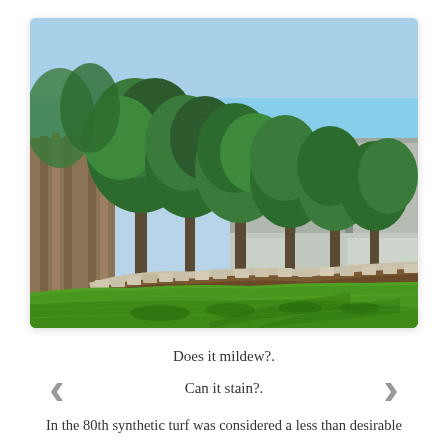[Figure (photo): Outdoor backyard photo showing a lush artificial green turf lawn bordered by a stone edging, with multiple trees lining a wooden and concrete retaining wall fence in the background. Sunny day with blue sky visible.]
Does it mildew?.
Can it stain?.
In the 80th synthetic turf was considered a less than desirable